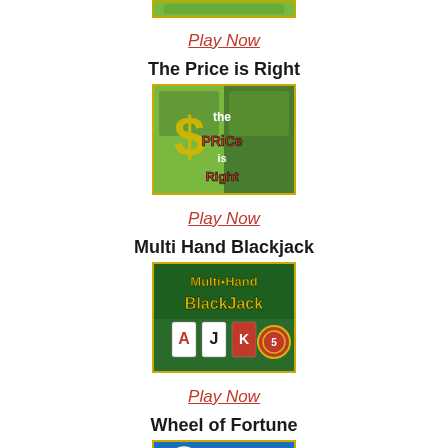[Figure (screenshot): Partial game thumbnail visible at top of page]
Play Now
The Price is Right
[Figure (screenshot): The Price is Right game thumbnail with yellow spiral S logo and red text on green background]
Play Now
Multi Hand Blackjack
[Figure (screenshot): Multi Hand BlackJack game thumbnail showing cards and chips on green background with gold text]
Play Now
Wheel of Fortune
[Figure (screenshot): Wheel of Fortune game thumbnail with blue background and colorful wheel logo]